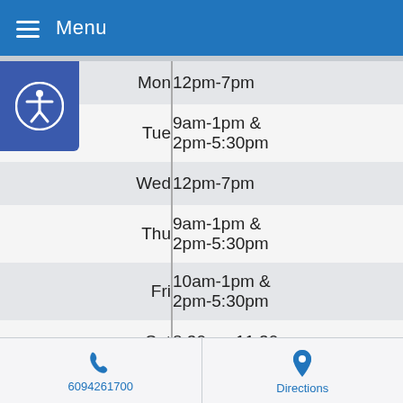Menu
| Day | Hours |
| --- | --- |
| Mon | 12pm-7pm |
| Tue | 9am-1pm & 2pm-5:30pm |
| Wed | 12pm-7pm |
| Thu | 9am-1pm & 2pm-5:30pm |
| Fri | 10am-1pm & 2pm-5:30pm |
| Sat | 8:30am-11:30am |
| Sun | Closed |
6094261700
Directions